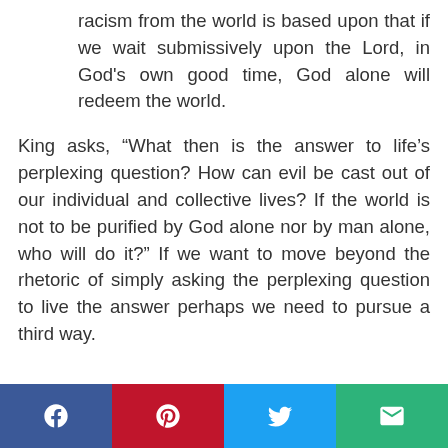racism from the world is based upon that if we wait submissively upon the Lord, in God's own good time, God alone will redeem the world.
King asks, “What then is the answer to life’s perplexing question? How can evil be cast out of our individual and collective lives? If the world is not to be purified by God alone nor by man alone, who will do it?” If we want to move beyond the rhetoric of simply asking the perplexing question to live the answer perhaps we need to pursue a third way.
[Figure (other): Social sharing footer bar with four buttons: Facebook (blue), Pinterest (red), Twitter (light blue), Email (green)]